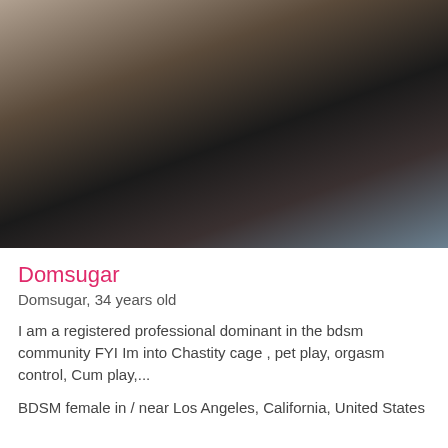[Figure (photo): Profile photo of a woman wearing a black blazer and black lace top, seated in front of a teal chair, with tattoos visible on her arm.]
Domsugar
Domsugar, 34 years old
I am a registered professional dominant in the bdsm community FYI Im into Chastity cage , pet play, orgasm control, Cum play,...
BDSM female in / near Los Angeles, California, United States